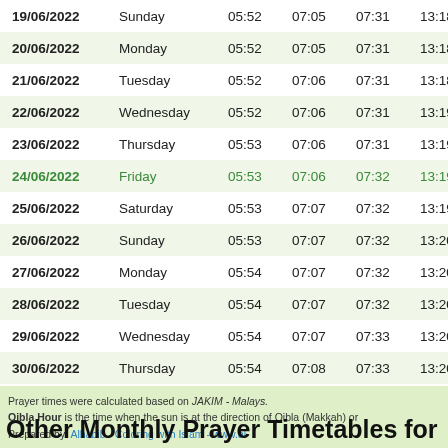| Date | Day | Col1 | Col2 | Col3 | Col4 | Col5 |
| --- | --- | --- | --- | --- | --- | --- |
| 19/06/2022 | Sunday | 05:52 | 07:05 | 07:31 | 13:18 | 1 |
| 20/06/2022 | Monday | 05:52 | 07:05 | 07:31 | 13:18 | 1 |
| 21/06/2022 | Tuesday | 05:52 | 07:06 | 07:31 | 13:18 | 1 |
| 22/06/2022 | Wednesday | 05:52 | 07:06 | 07:31 | 13:19 | 1 |
| 23/06/2022 | Thursday | 05:53 | 07:06 | 07:31 | 13:19 | 1 |
| 24/06/2022 | Friday | 05:53 | 07:06 | 07:32 | 13:19 | 1 |
| 25/06/2022 | Saturday | 05:53 | 07:07 | 07:32 | 13:19 | 1 |
| 26/06/2022 | Sunday | 05:53 | 07:07 | 07:32 | 13:20 | 1 |
| 27/06/2022 | Monday | 05:54 | 07:07 | 07:32 | 13:20 | 1 |
| 28/06/2022 | Tuesday | 05:54 | 07:07 | 07:32 | 13:20 | 1 |
| 29/06/2022 | Wednesday | 05:54 | 07:07 | 07:33 | 13:20 | 1 |
| 30/06/2022 | Thursday | 05:54 | 07:08 | 07:33 | 13:20 | 1 |
Prayer times were calculated based on JAKIM - Malays. Qibla Hour is the time when the sun is at the direction of Qibla (Makkah) or Prepared by: Alhabib - Coloring with Islam - www.al-
Other Monthly Prayer Timetables for